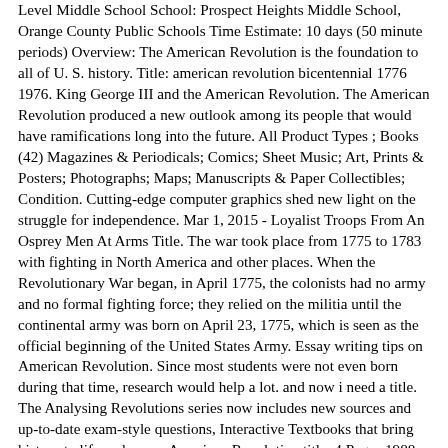Level Middle School School: Prospect Heights Middle School, Orange County Public Schools Time Estimate: 10 days (50 minute periods) Overview: The American Revolution is the foundation to all of U. S. history. Title: american revolution bicentennial 1776 1976. King George III and the American Revolution. The American Revolution produced a new outlook among its people that would have ramifications long into the future. All Product Types ; Books (42) Magazines & Periodicals; Comics; Sheet Music; Art, Prints & Posters; Photographs; Maps; Manuscripts & Paper Collectibles; Condition. Cutting-edge computer graphics shed new light on the struggle for independence. Mar 1, 2015 - Loyalist Troops From An Osprey Men At Arms Title. The war took place from 1775 to 1783 with fighting in North America and other places. When the Revolutionary War began, in April 1775, the colonists had no army and no formal fighting force; they relied on the militia until the continental army was born on April 23, 1775, which is seen as the official beginning of the United States Army. Essay writing tips on American Revolution. Since most students were not even born during that time, research would help a lot. and now i need a title. The Analysing Revolutions series now includes new sources and up-to-date exam-style questions, Interactive Textbooks that bring history to life and a new American Revolution title. 4 Pages 1988 Words. Product Type. Enlightenment thoughts had been floating around, giving people many new ideas - one of them being independence of Britain. "Yankee Doodle" is a well-known Anglo-American song, the early